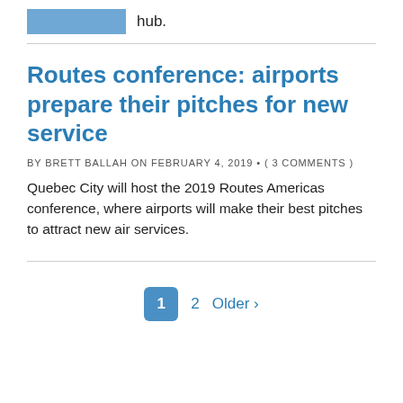hub.
Routes conference: airports prepare their pitches for new service
BY BRETT BALLAH ON FEBRUARY 4, 2019 • ( 3 COMMENTS )
Quebec City will host the 2019 Routes Americas conference, where airports will make their best pitches to attract new air services.
1  2  Older ›